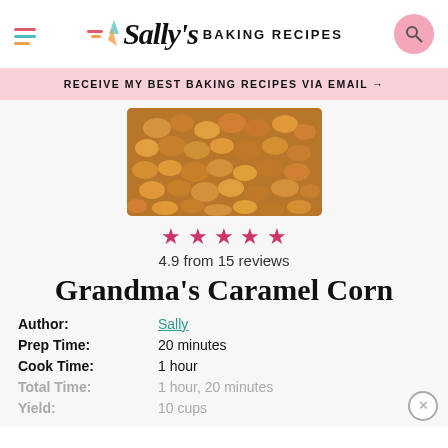Sally's Baking Recipes
RECEIVE MY BEST BAKING RECIPES VIA EMAIL →
[Figure (photo): Close-up photo of golden caramel corn pieces]
4.9 from 15 reviews
Grandma's Caramel Corn
Author: Sally
Prep Time: 20 minutes
Cook Time: 1 hour
Total Time: 1 hour, 20 minutes
Yield: 10 cups